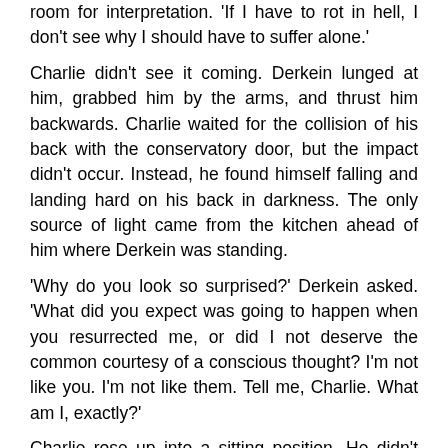room for interpretation. 'If I have to rot in hell, I don't see why I should have to suffer alone.'
Charlie didn't see it coming. Derkein lunged at him, grabbed him by the arms, and thrust him backwards. Charlie waited for the collision of his back with the conservatory door, but the impact didn't occur. Instead, he found himself falling and landing hard on his back in darkness. The only source of light came from the kitchen ahead of him where Derkein was standing.
'Why do you look so surprised?' Derkein asked. 'What did you expect was going to happen when you resurrected me, or did I not deserve the common courtesy of a conscious thought? I'm not like you. I'm not like them. Tell me, Charlie. What am I, exactly?'
Charlie rose up into a sitting position. He didn't have the answers Derkein was seeking. 'I'm sorry.' The words had escaped him before the